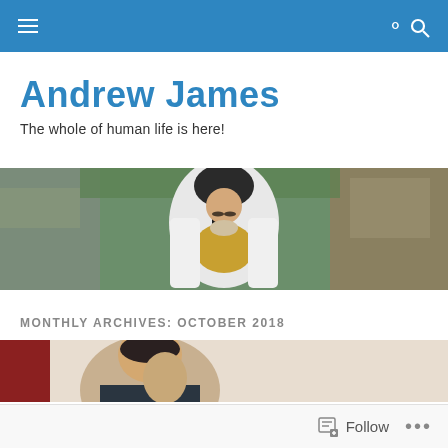Navigation bar with menu and search icons
Andrew James
The whole of human life is here!
[Figure (photo): A person in a medieval costume with a helmet and white/gold outfit, photographed in front of rocky terrain with green moss.]
MONTHLY ARCHIVES: OCTOBER 2018
[Figure (photo): Two men photographed together indoors, one on the left with dark hair and one on the right with grey hair, against a light background.]
Follow ...